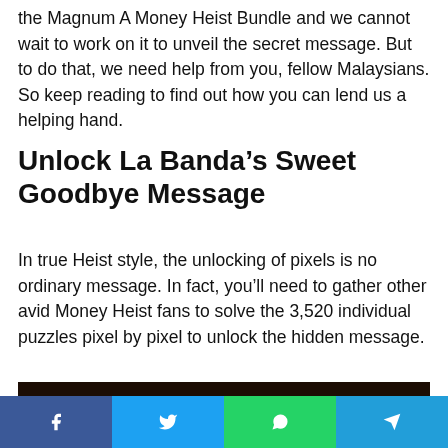the Magnum A Money Heist Bundle and we cannot wait to work on it to unveil the secret message. But to do that, we need help from you, fellow Malaysians. So keep reading to find out how you can lend us a helping hand.
Unlock La Banda’s Sweet Goodbye Message
In true Heist style, the unlocking of pixels is no ordinary message. In fact, you’ll need to gather other avid Money Heist fans to solve the 3,520 individual puzzles pixel by pixel to unlock the hidden message.
[Figure (photo): Dark image with a golden icon/logo in center, partially visible at bottom of page]